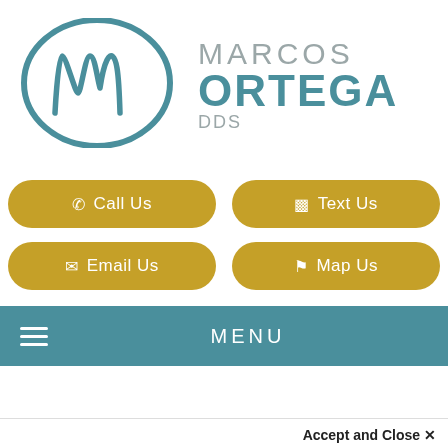[Figure (logo): Marcos Ortega DDS logo with teal oval M monogram and text]
Call Us
Text Us
Email Us
Map Us
MENU
San Diego Dentist > Blog > Are Dental Implants Too Exp...
Accept and Close ✕
Your browser settings do not allow cross-site tracking for advertising. Click on this page to allow AdRoll to use cross-site tracking to tailor ads to you. Learn more or opt out of this AdRoll tracking by clicking here. This message only appears once.